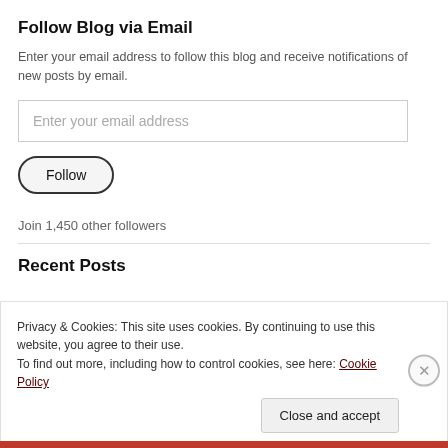Follow Blog via Email
Enter your email address to follow this blog and receive notifications of new posts by email.
[Figure (screenshot): Email address input field with placeholder text 'Enter your email address']
[Figure (screenshot): Follow button with rounded pill shape]
Join 1,450 other followers
Recent Posts
Privacy & Cookies: This site uses cookies. By continuing to use this website, you agree to their use.
To find out more, including how to control cookies, see here: Cookie Policy